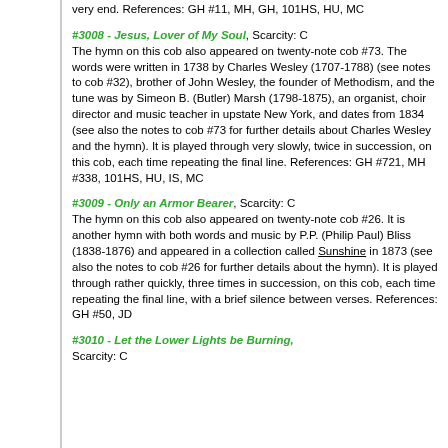very end. References: GH #11, MH, GH, 101HS, HU, MC
#3008 - Jesus, Lover of My Soul, Scarcity: C The hymn on this cob also appeared on twenty-note cob #73. The words were written in 1738 by Charles Wesley (1707-1788) (see notes to cob #32), brother of John Wesley, the founder of Methodism, and the tune was by Simeon B. (Butler) Marsh (1798-1875), an organist, choir director and music teacher in upstate New York, and dates from 1834 (see also the notes to cob #73 for further details about Charles Wesley and the hymn). It is played through very slowly, twice in succession, on this cob, each time repeating the final line. References: GH #721, MH #338, 101HS, HU, IS, MC
#3009 - Only an Armor Bearer, Scarcity: C The hymn on this cob also appeared on twenty-note cob #26. It is another hymn with both words and music by P.P. (Philip Paul) Bliss (1838-1876) and appeared in a collection called Sunshine in 1873 (see also the notes to cob #26 for further details about the hymn). It is played through rather quickly, three times in succession, on this cob, each time repeating the final line, with a brief silence between verses. References: GH #50, JD
#3010 - Let the Lower Lights be Burning, Scarcity: C